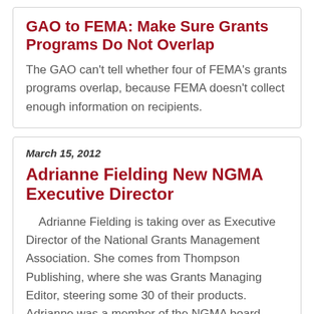GAO to FEMA: Make Sure Grants Programs Do Not Overlap
The GAO can't tell whether four of FEMA's grants programs overlap, because FEMA doesn't collect enough information on recipients.
March 15, 2012
Adrianne Fielding New NGMA Executive Director
Adrianne Fielding is taking over as Executive Director of the National Grants Management Association. She comes from Thompson Publishing, where she was Grants Managing Editor, steering some 30 of their products. Adrianne was a member of the NGMA board